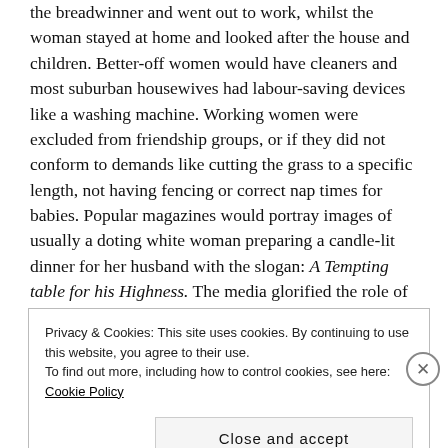the breadwinner and went out to work, whilst the woman stayed at home and looked after the house and children. Better-off women would have cleaners and most suburban housewives had labour-saving devices like a washing machine. Working women were excluded from friendship groups, or if they did not conform to demands like cutting the grass to a specific length, not having fencing or correct nap times for babies. Popular magazines would portray images of usually a doting white woman preparing a candle-lit dinner for her husband with the slogan: A Tempting table for his Highness. The media glorified the role of a traditional woman as the life
Privacy & Cookies: This site uses cookies. By continuing to use this website, you agree to their use.
To find out more, including how to control cookies, see here: Cookie Policy
Close and accept